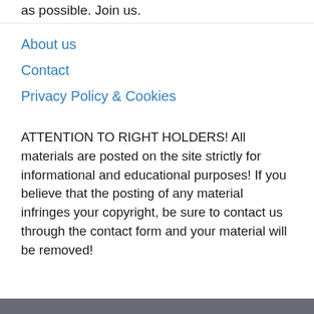as possible. Join us.
About us
Contact
Privacy Policy & Cookies
ATTENTION TO RIGHT HOLDERS! All materials are posted on the site strictly for informational and educational purposes! If you believe that the posting of any material infringes your copyright, be sure to contact us through the contact form and your material will be removed!